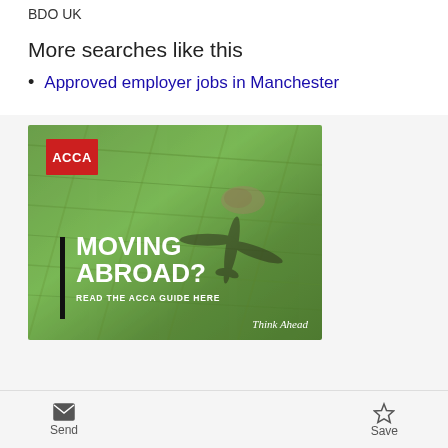BDO UK
More searches like this
Approved employer jobs in Manchester
[Figure (illustration): ACCA advertisement banner showing aerial photo of grass field with plane shadow. Text reads: MOVING ABROAD? READ THE ACCA GUIDE HERE. Think Ahead.]
Send | Save